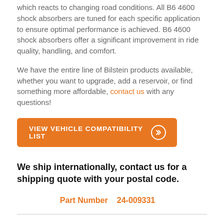which reacts to changing road conditions. All B6 4600 shock absorbers are tuned for each specific application to ensure optimal performance is achieved. B6 4600 shock absorbers offer a significant improvement in ride quality, handling, and comfort.
We have the entire line of Bilstein products available, whether you want to upgrade, add a reservoir, or find something more affordable, contact us with any questions!
VIEW VEHICLE COMPATIBILITY LIST
We ship internationally, contact us for a shipping quote with your postal code.
Part Number 24-009331